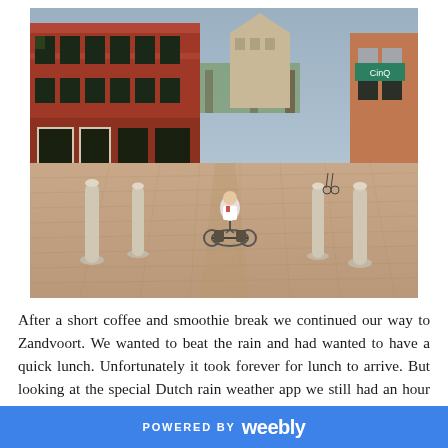[Figure (photo): A person riding a bicycle away from the camera through a Dutch cobblestone street flanked by historic red-brick buildings, with bollards in the foreground and a town square visible in the background.]
After a short coffee and smoothie break we continued our way to Zandvoort. We wanted to beat the rain and had wanted to have a quick lunch. Unfortunately it took forever for lunch to arrive. But looking at the special Dutch rain weather app we still had an hour before the rain would start, which would be enough to get to Noordwijk if we
POWERED BY weebly